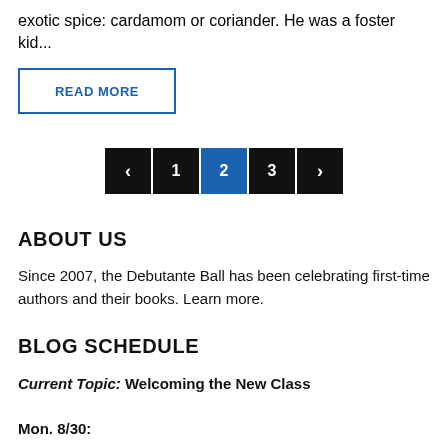exotic spice: cardamom or coriander.  He was a foster kid...
READ MORE
[Figure (other): Pagination control showing previous arrow, page 1, page 2 (active/highlighted in blue), page 3, and next arrow buttons]
ABOUT US
Since 2007, the Debutante Ball has been celebrating first-time authors and their books. Learn more.
BLOG SCHEDULE
Current Topic: Welcoming the New Class
Mon. 8/30: